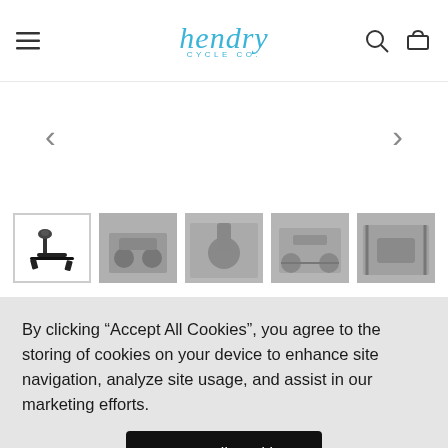hendry CYCLE Co.
[Figure (photo): Product image thumbnails of a bicycle trainer/roller device. Five thumbnail images showing: 1) black indoor bike trainer stand isolated on white background, 2-5) various action shots of cyclists using the trainer, shown in muted gray tones.]
By clicking “Accept All Cookies”, you agree to the storing of cookies on your device to enhance site navigation, analyze site usage, and assist in our marketing efforts.
Accept All Cookies